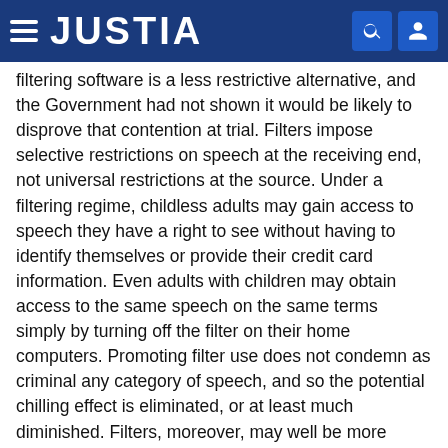JUSTIA
filtering software is a less restrictive alternative, and the Government had not shown it would be likely to disprove that contention at trial. Filters impose selective restrictions on speech at the receiving end, not universal restrictions at the source. Under a filtering regime, childless adults may gain access to speech they have a right to see without having to identify themselves or provide their credit card information. Even adults with children may obtain access to the same speech on the same terms simply by turning off the filter on their home computers. Promoting filter use does not condemn as criminal any category of speech, and so the potential chilling effect is eliminated, or at least much diminished. Filters, moreover, may well be more effective than COPA. First, the record demonstrates that a filter can prevent minors from seeing all pornography, not just pornography posted to the Web from America